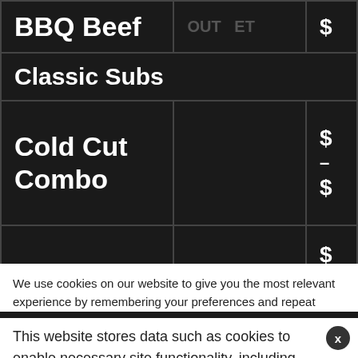| BBQ Beef |  | $... |
| Classic Subs |  |  |
| Cold Cut Combo |  | $...
–
$... |
|  |  | $... |
We use cookies on our website to give you the most relevant experience by remembering your preferences and repeat visits. By clicking "Accept All", you consent to the use of ALL t... provide a controlled consent.
This website stores data such as cookies to enable necessary site functionality, including analytics, targeting, and personalization. By remaining on this website you indicate your consent Cookie Policy